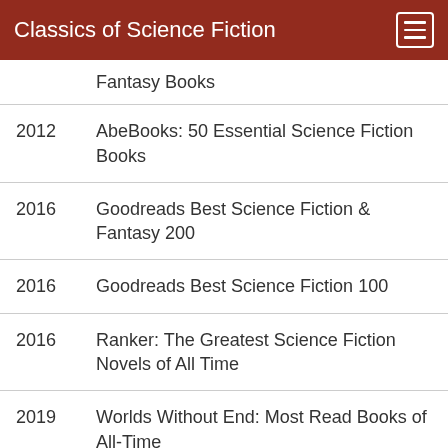Classics of Science Fiction
Fantasy Books
2012	AbeBooks: 50 Essential Science Fiction Books
2016	Goodreads Best Science Fiction & Fantasy 200
2016	Goodreads Best Science Fiction 100
2016	Ranker: The Greatest Science Fiction Novels of All Time
2019	Worlds Without End: Most Read Books of All-Time